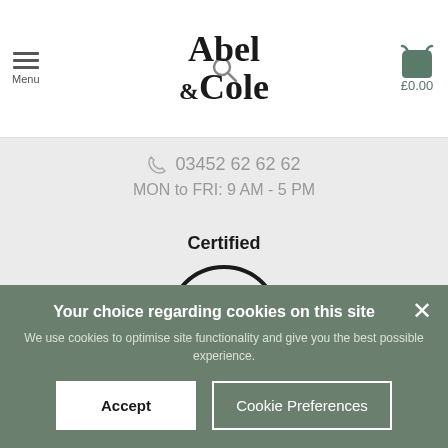Abel & Cole - Menu | Search | £0.00
03452 62 62 62
MON to FRI: 9 AM - 5 PM
[Figure (logo): Certified B Corporation logo — circle with large letter B inside, horizontal line underneath, 'Certified' above and 'Corporation' below]
Your choice regarding cookies on this site
We use cookies to optimise site functionality and give you the best possible experience.
Accept
Cookie Preferences